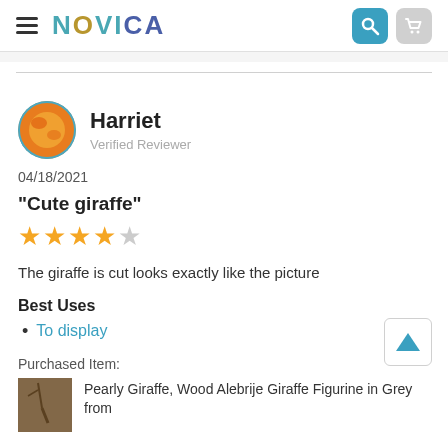NOVICA
Harriet
Verified Reviewer
04/18/2021
"Cute giraffe"
[Figure (other): 4 out of 5 star rating shown as yellow filled stars and one empty star]
The giraffe is cut looks exactly like the picture
Best Uses
To display
Purchased Item:
Pearly Giraffe, Wood Alebrije Giraffe Figurine in Grey from